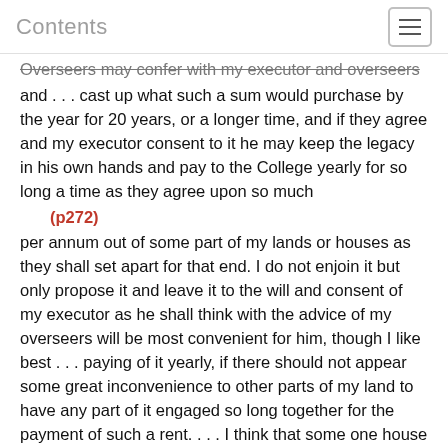Contents
Overseers may confer with my executor and overseers and . . . cast up what such a sum would purchase by the year for 20 years, or a longer time, and if they agree and my executor consent to it he may keep the legacy in his own hands and pay to the College yearly for so long a time as they agree upon so much
(p272)
per annum out of some part of my lands or houses as they shall set apart for that end. I do not enjoin it but only propose it and leave it to the will and consent of my executor as he shall think with the advice of my overseers will be most convenient for him, though I like best . . . paying of it yearly, if there should not appear some great inconvenience to other parts of my land to have any part of it engaged so long together for the payment of such a rent. . . . I think that some one house or shop may be appointed for such an end and some such way may be thought of as may prove no